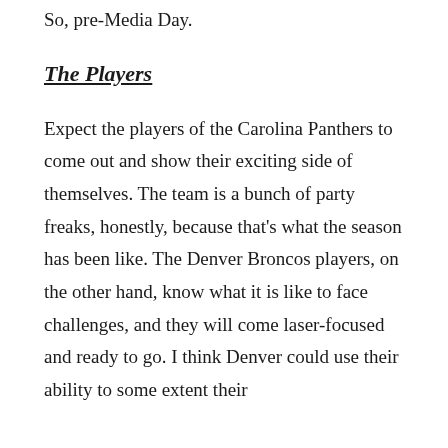So, pre-Media Day.
The Players
Expect the players of the Carolina Panthers to come out and show their exciting side of themselves. The team is a bunch of party freaks, honestly, because that's what the season has been like. The Denver Broncos players, on the other hand, know what it is like to face challenges, and they will come laser-focused and ready to go. I think Denver could use their ability to some extent their